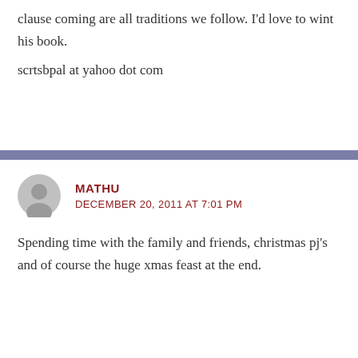clause coming are all traditions we follow. I'd love to wint his book.
scrtsbpal at yahoo dot com
MATHU
DECEMBER 20, 2011 AT 7:01 PM
Spending time with the family and friends, christmas pj's and of course the huge xmas feast at the end.